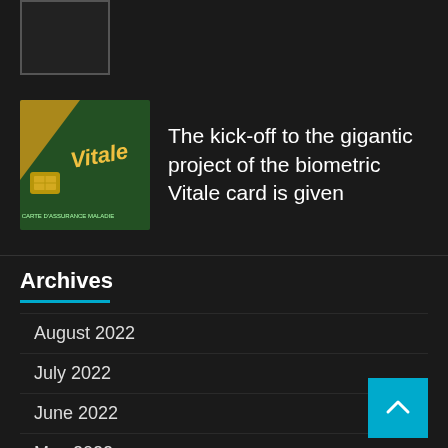[Figure (other): Small placeholder image box with dark background and border at top left]
[Figure (photo): Thumbnail photo of a green Vitale biometric card with yellow stripe and chip]
The kick-off to the gigantic project of the biometric Vitale card is given
Archives
August 2022
July 2022
June 2022
May 2022
April 2022